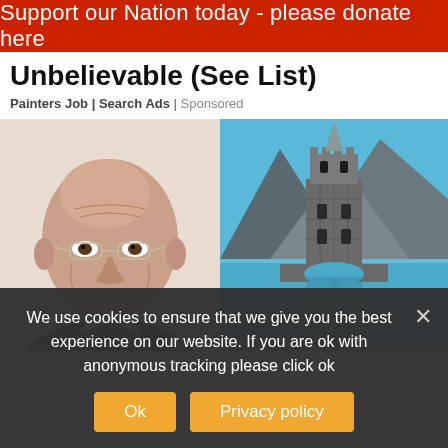Support our Nation today - please donate here
Unbelievable (See List)
Painters Job | Search Ads | Sponsored
[Figure (photo): Portrait photo of an elderly bald man with glasses looking serious]
[Figure (photo): Photo of a medieval stone tower/castle standing in a blue lake with mountains in the background]
We use cookies to ensure that we give you the best experience on our website. If you are ok with anonymous tracking please click ok
Ok   Privacy policy